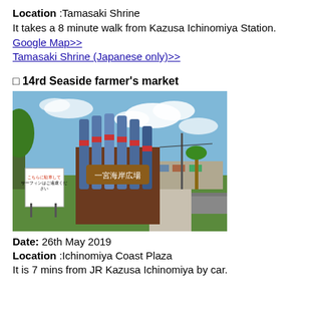Location :Tamasaki Shrine
It takes a 8 minute walk from Kazusa Ichinomiya Station.
Google Map>>
Tamasaki Shrine (Japanese only)>>
⬛ 14rd Seaside farmer's market
[Figure (photo): Outdoor photo of Ichinomiya Coast Plaza sign (一宮海岸広場) — a tall cylindrical wooden monument with metallic fins, surrounded by grass, trees, a stone wall, and a parking lot under a partly cloudy sky.]
Date: 26th May 2019
Location :Ichinomiya Coast Plaza
It is 7 mins from JR Kazusa Ichinomiya by car.